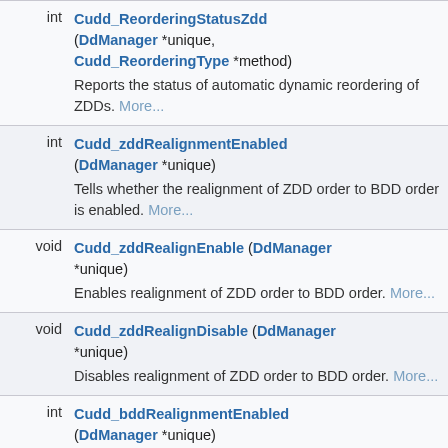| Type | Function/Description |
| --- | --- |
| int | Cudd_ReorderingStatusZdd (DdManager *unique, Cudd_ReorderingType *method)
Reports the status of automatic dynamic reordering of ZDDs. More... |
| int | Cudd_zddRealignmentEnabled (DdManager *unique)
Tells whether the realignment of ZDD order to BDD order is enabled. More... |
| void | Cudd_zddRealignEnable (DdManager *unique)
Enables realignment of ZDD order to BDD order. More... |
| void | Cudd_zddRealignDisable (DdManager *unique)
Disables realignment of ZDD order to BDD order. More... |
| int | Cudd_bddRealignmentEnabled (DdManager *unique) |